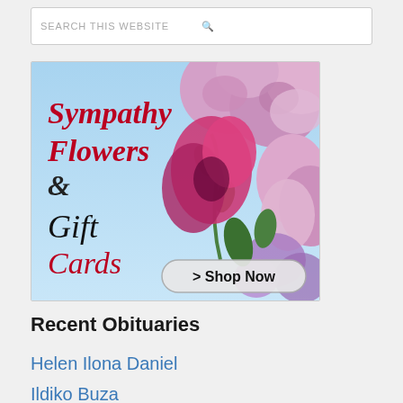SEARCH THIS WEBSITE
[Figure (illustration): Advertisement banner for Sympathy Flowers & Gift Cards with a Shop Now button, showing pink roses and colorful flowers on a blue background with script text.]
Recent Obituaries
Helen Ilona Daniel
Ildiko Buza